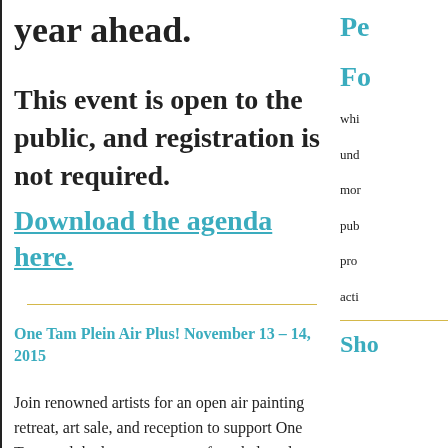year ahead.
This event is open to the public, and registration is not required.
Download the agenda here.
One Tam Plein Air Plus! November 13 – 14, 2015
Join renowned artists for an open air painting retreat, art sale, and reception to support One Tam, and the long-term care of our beloved Mount Tamalpais.
Pe
Fo
whi
und
mor
pub
pro
acti
Sho